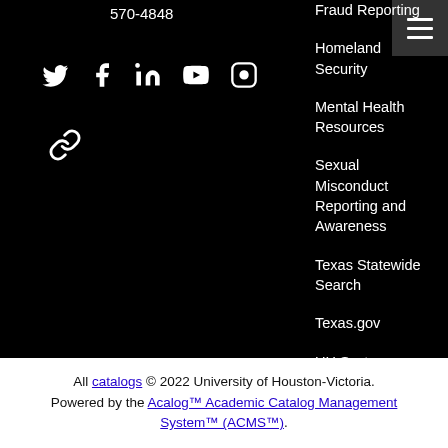570-4848
[Figure (illustration): Social media icons: Twitter, Facebook, LinkedIn, YouTube, Instagram, and a link/chain icon, displayed in white on black background]
Fraud Reporting
Homeland Security
Mental Health Resources
Sexual Misconduct Reporting and Awareness
Texas Statewide Search
Texas.gov
UH System
University Policies, Standards and Guidelines
Webmaster
All catalogs © 2022 University of Houston-Victoria. Powered by the Acalog™ Academic Catalog Management System™ (ACMS™).